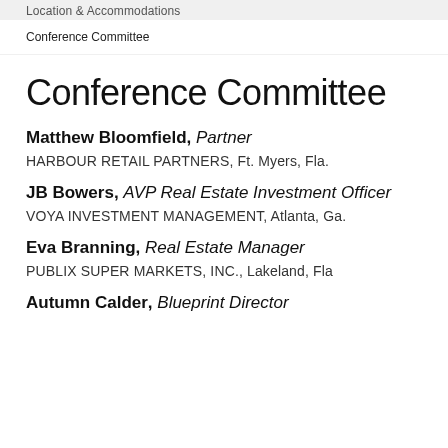Location & Accommodations
Conference Committee
Past Conferences
Conference Committee
Matthew Bloomfield, Partner
HARBOUR RETAIL PARTNERS, Ft. Myers, Fla.
JB Bowers, AVP Real Estate Investment Officer
VOYA INVESTMENT MANAGEMENT, Atlanta, Ga.
Eva Branning, Real Estate Manager
PUBLIX SUPER MARKETS, INC., Lakeland, Fla
Autumn Calder, Blueprint Director